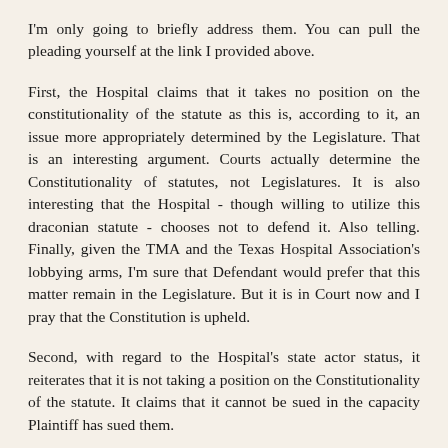I'm only going to briefly address them. You can pull the pleading yourself at the link I provided above.
First, the Hospital claims that it takes no position on the constitutionality of the statute as this is, according to it, an issue more appropriately determined by the Legislature. That is an interesting argument. Courts actually determine the Constitutionality of statutes, not Legislatures. It is also interesting that the Hospital - though willing to utilize this draconian statute - chooses not to defend it. Also telling. Finally, given the TMA and the Texas Hospital Association's lobbying arms, I'm sure that Defendant would prefer that this matter remain in the Legislature. But it is in Court now and I pray that the Constitution is upheld.
Second, with regard to the Hospital's state actor status, it reiterates that it is not taking a position on the Constitutionality of the statute. It claims that it cannot be sued in the capacity Plaintiff has sued them.
Third, the mootness issue is an interesting response. They argue that since Chris Dunn is now deceased, the issues raised are moot because they are a combination of important public law interests at...